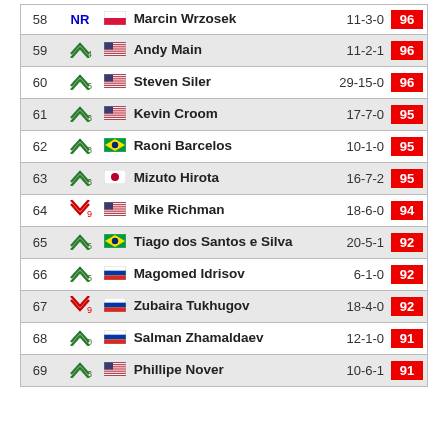| Rank | Move | Fighter | Record | Score |
| --- | --- | --- | --- | --- |
| 58 | NR | Marcin Wrzosek | 11-3-0 | 96 |
| 59 | ↑4 | Andy Main | 11-2-1 | 96 |
| 60 | ↑5 | Steven Siler | 29-15-0 | 96 |
| 61 | ↑3 | Kevin Croom | 17-7-0 | 95 |
| 62 | ↑8 | Raoni Barcelos | 10-1-0 | 95 |
| 63 | ↑3 | Mizuto Hirota | 16-7-2 | 95 |
| 64 | ↓9 | Mike Richman | 18-6-0 | 94 |
| 65 | ↑5 | Tiago dos Santos e Silva | 20-5-1 | 92 |
| 66 | ↑5 | Magomed Idrisov | 6-1-0 | 92 |
| 67 | ↓9 | Zubaira Tukhugov | 18-4-0 | 92 |
| 68 | ↑0 | Salman Zhamaldaev | 12-1-0 | 91 |
| 69 | ↑3 | Phillipe Nover | 10-6-1 | 91 |